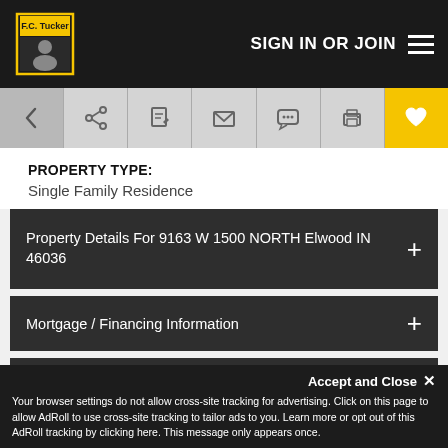F.C. Tucker | SIGN IN OR JOIN
PROPERTY TYPE:
Single Family Residence
Property Details For 9163 W 1500 NORTH Elwood IN 46036
Mortgage / Financing Information
Rooms
Tax and Financial Info
Accept and Close ✕
Your browser settings do not allow cross-site tracking for advertising. Click on this page to allow AdRoll to use cross-site tracking to tailor ads to you. Learn more or opt out of this AdRoll tracking by clicking here. This message only appears once.